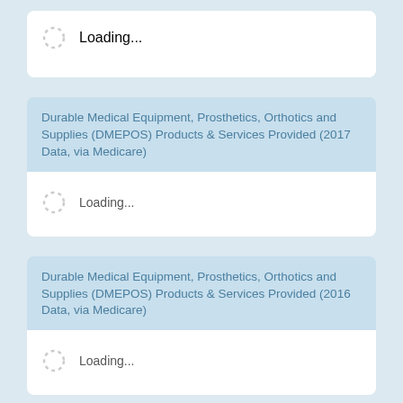Loading...
Durable Medical Equipment, Prosthetics, Orthotics and Supplies (DMEPOS) Products & Services Provided (2017 Data, via Medicare)
Loading...
Durable Medical Equipment, Prosthetics, Orthotics and Supplies (DMEPOS) Products & Services Provided (2016 Data, via Medicare)
Loading...